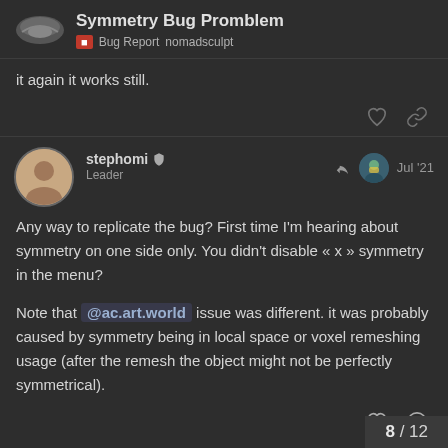Symmetry Bug Promblem | Bug Report nomadsculpt
it again it works still.
stephomi Leader  Jul '21  Any way to replicate the bug? First time I'm hearing about symmetry on one side only. You didn't disable « x » symmetry in the menu?

Note that @ac.art.world issue was different. it was probably caused by symmetry being in local space or voxel remeshing usage (after the remesh the object might not be perfectly symmetrical).
8 / 12